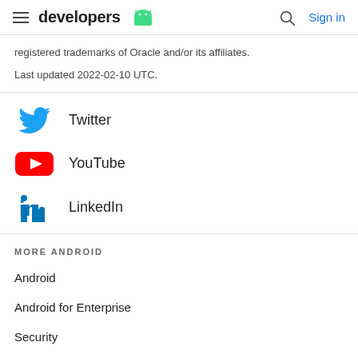developers [Android logo] | Search | Sign in
registered trademarks of Oracle and/or its affiliates.
Last updated 2022-02-10 UTC.
Twitter
YouTube
LinkedIn
MORE ANDROID
Android
Android for Enterprise
Security